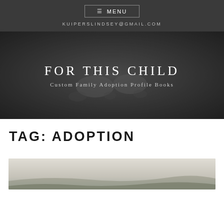≡ MENU
KUIPERSLINDSEY@GMAIL.COM
FOR THIS CHILD
Custom Family Adoption Profile Books
TAG: ADOPTION
[Figure (photo): Partial landscape/outdoor photo preview at the bottom of the page, showing sky and natural scenery in muted tones.]